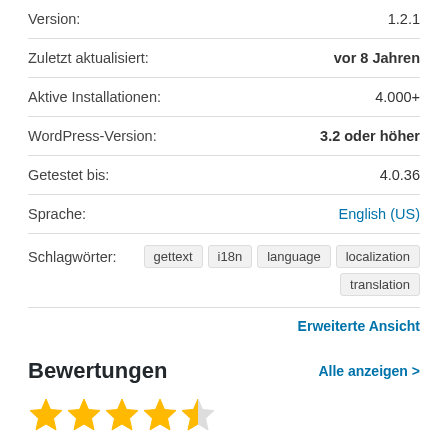Version: 1.2.1
Zuletzt aktualisiert: vor 8 Jahren
Aktive Installationen: 4.000+
WordPress-Version: 3.2 oder höher
Getestet bis: 4.0.36
Sprache: English (US)
Schlagwörter: gettext i18n language localization translation
Erweiterte Ansicht
Bewertungen
Alle anzeigen >
[Figure (other): 4.5 out of 5 stars rating — four full gold stars and one half gold star]